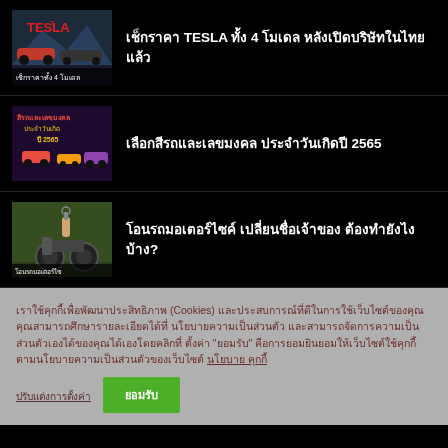[Figure (screenshot): Tesla logo and cars thumbnail with Thai text overlay]
เช็กราคา TESLA ทั้ง 4 โมเดล หลังเปิดบริษัทในไทยแล้ว
[Figure (screenshot): Lucky colors and numbers for birth year 2565 thumbnail]
เลือกสีรถและเลขมงคล ประจำวันเกิดปี 2565
[Figure (screenshot): Motorcycle key handover thumbnail]
โอนรถมอเตอร์ไซค์ เปลี่ยนชื่อเจ้าของ ต้องทำยังไงบ้าง?
คุกกี้ (Cookies) เพื่อเพิ่มประสบการณ์และความพึงพอใจในการใช้งานเว็บไซต์ ให้สามารถเข้าถึงเนื้อหาได้อย่างรวดเร็ว กดยอมรับ "ยอมรับ" ตามนโยบายความเป็นส่วนตัวของเว็บไซต์ นโยบายคุกกี้
ปรับแต่งการตั้งค่า
ยอมรับ